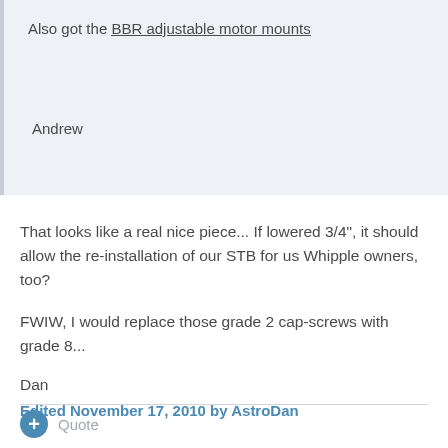Also got the BBR adjustable motor mounts
Andrew
That looks like a real nice piece... If lowered 3/4", it should allow the re-installation of our STB for us Whipple owners, too?
FWIW, I would replace those grade 2 cap-screws with grade 8...
Dan
Edited November 17, 2010 by AstroDan